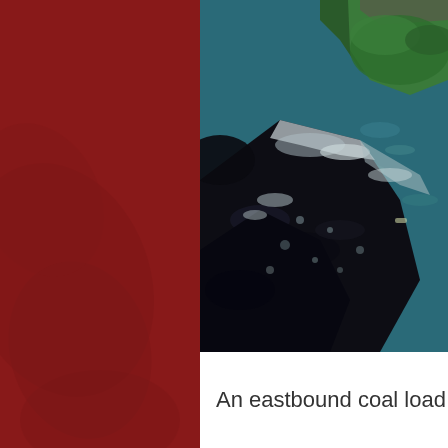[Figure (photo): Aerial photograph showing an eastbound coal-loaded barge or train passing through a river/waterway, with teal-blue water, green forested islands or banks at top, and a large dark mass of coal in the lower portion of the image.]
An eastbound coal load